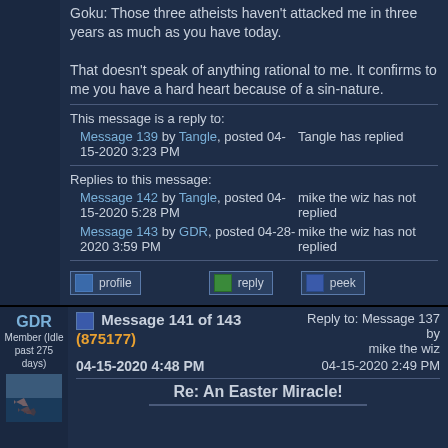Goku: Those three atheists haven't attacked me in three years as much as you have today.

That doesn't speak of anything rational to me. It confirms to me you have a hard heart because of a sin-nature.
This message is a reply to:
Message 139 by Tangle, posted 04-15-2020 3:23 PM | Tangle has replied
Replies to this message:
Message 142 by Tangle, posted 04-15-2020 5:28 PM | mike the wiz has not replied
Message 143 by GDR, posted 04-28-2020 3:59 PM | mike the wiz has not replied
GDR
Member (Idle past 275 days)
Message 141 of 143 (875177)
04-15-2020 4:48 PM
Reply to: Message 137 by mike the wiz
04-15-2020 2:49 PM
Re: An Easter Miracle!